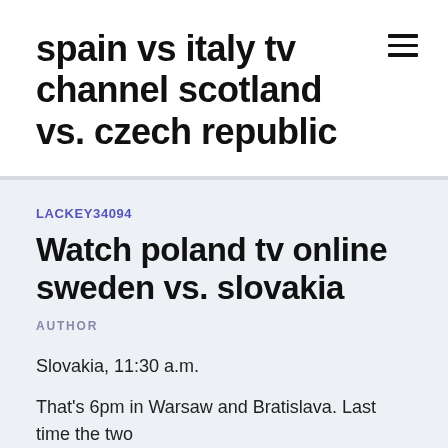spain vs italy tv channel scotland vs. czech republic
LACKEY34094
Watch poland tv online sweden vs. slovakia
AUTHOR
Slovakia, 11:30 a.m.
That's 6pm in Warsaw and Bratislava. Last time the two